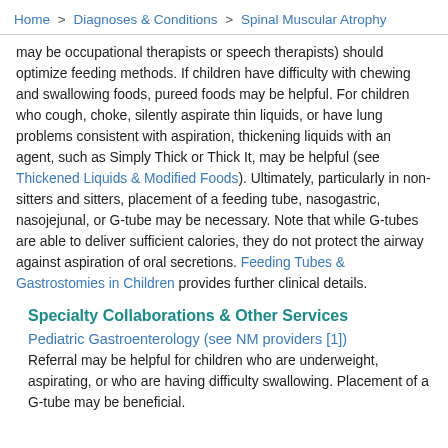Home  >  Diagnoses & Conditions  >  Spinal Muscular Atrophy
may be occupational therapists or speech therapists) should optimize feeding methods. If children have difficulty with chewing and swallowing foods, pureed foods may be helpful. For children who cough, choke, silently aspirate thin liquids, or have lung problems consistent with aspiration, thickening liquids with an agent, such as Simply Thick or Thick It, may be helpful (see Thickened Liquids & Modified Foods). Ultimately, particularly in non-sitters and sitters, placement of a feeding tube, nasogastric, nasojejunal, or G-tube may be necessary. Note that while G-tubes are able to deliver sufficient calories, they do not protect the airway against aspiration of oral secretions. Feeding Tubes & Gastrostomies in Children provides further clinical details.
Specialty Collaborations & Other Services
Pediatric Gastroenterology (see NM providers [1])
Referral may be helpful for children who are underweight, aspirating, or who are having difficulty swallowing. Placement of a G-tube may be beneficial.